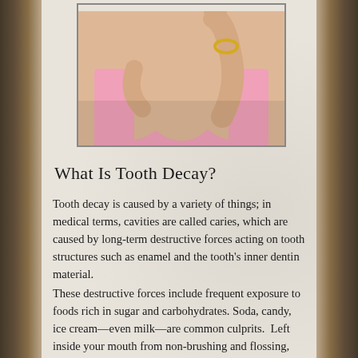[Figure (photo): A woman in a pink top touching her face/chin area with her hand, holding what appears to be jewelry or an earring. The photo is cropped to show the neck, chin, and hands area.]
What Is Tooth Decay?
Tooth decay is caused by a variety of things; in medical terms, cavities are called caries, which are caused by long-term destructive forces acting on tooth structures such as enamel and the tooth’s inner dentin material.
These destructive forces include frequent exposure to foods rich in sugar and carbohydrates. Soda, candy, ice cream—even milk—are common culprits.  Left inside your mouth from non-brushing and flossing, these materials break down quickly, allowing bacteria to do their dirty